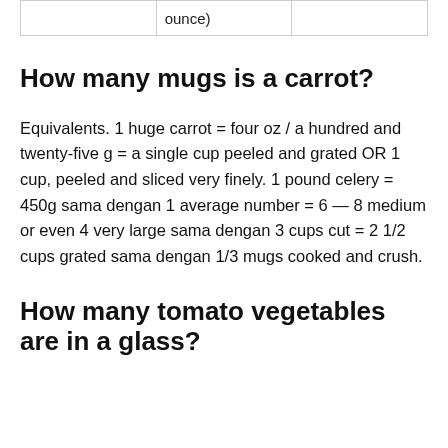|  | ounce) |  |
How many mugs is a carrot?
Equivalents. 1 huge carrot = four oz / a hundred and twenty-five g = a single cup peeled and grated OR 1 cup, peeled and sliced very finely. 1 pound celery = 450g sama dengan 1 average number = 6 — 8 medium or even 4 very large sama dengan 3 cups cut = 2 1/2 cups grated sama dengan 1/3 mugs cooked and crush.
How many tomato vegetables are in a glass?